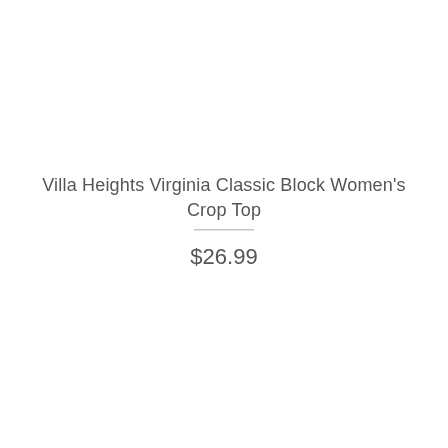Villa Heights Virginia Classic Block Women's Crop Top
$26.99